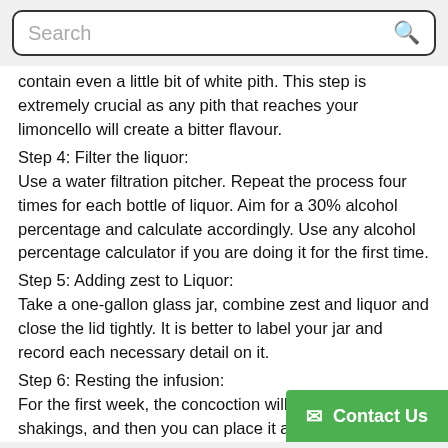Search
contain even a little bit of white pith. This step is extremely crucial as any pith that reaches your limoncello will create a bitter flavour.
Step 4: Filter the liquor:
Use a water filtration pitcher. Repeat the process four times for each bottle of liquor. Aim for a 30% alcohol percentage and calculate accordingly. Use any alcohol percentage calculator if you are doing it for the first time.
Step 5: Adding zest to Liquor:
Take a one-gallon glass jar, combine zest and liquor and close the lid tightly. It is better to label your jar and record each necessary detail on it.
Step 6: Resting the infusion:
For the first week, the concoction will require several shakings, and then you can place it anywhere for a minimum of 45 days untouched.
Step 7: Filter the Infusion:
This is an essential step that gives you a c...